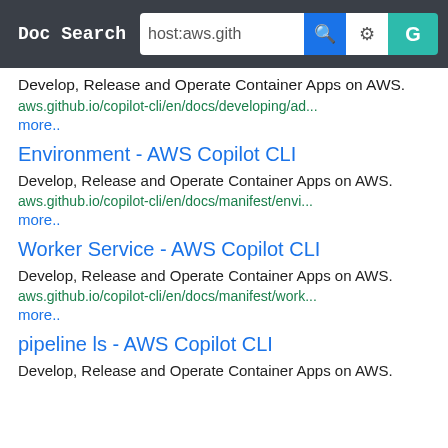Doc Search | host:aws.gith
Develop, Release and Operate Container Apps on AWS.
aws.github.io/copilot-cli/en/docs/developing/ad...
more..
Environment - AWS Copilot CLI
Develop, Release and Operate Container Apps on AWS.
aws.github.io/copilot-cli/en/docs/manifest/envi...
more..
Worker Service - AWS Copilot CLI
Develop, Release and Operate Container Apps on AWS.
aws.github.io/copilot-cli/en/docs/manifest/work...
more..
pipeline ls - AWS Copilot CLI
Develop, Release and Operate Container Apps on AWS.